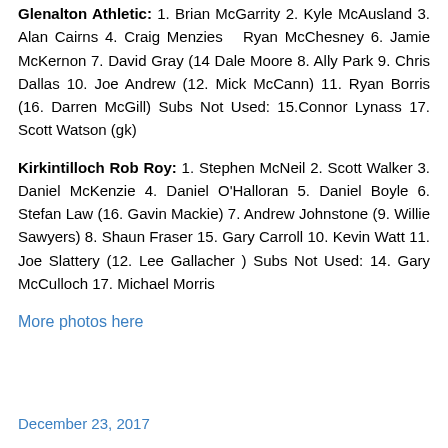Glenalton Athletic: 1. Brian McGarrity 2. Kyle McAusland 3. Alan Cairns 4. Craig Menzies  Ryan McChesney 6. Jamie McKernon 7. David Gray (14 Dale Moore 8. Ally Park 9. Chris Dallas 10. Joe Andrew (12. Mick McCann) 11. Ryan Borris (16. Darren McGill) Subs Not Used: 15.Connor Lynass 17. Scott Watson (gk)
Kirkintilloch Rob Roy: 1. Stephen McNeil 2. Scott Walker 3. Daniel McKenzie 4. Daniel O'Halloran 5. Daniel Boyle 6. Stefan Law (16. Gavin Mackie) 7. Andrew Johnstone (9. Willie Sawyers) 8. Shaun Fraser 15. Gary Carroll 10. Kevin Watt 11. Joe Slattery (12. Lee Gallacher ) Subs Not Used: 14. Gary McCulloch 17. Michael Morris
More photos here
December 23, 2017